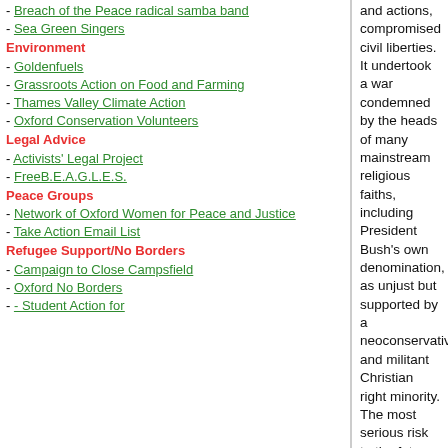- Breach of the Peace radical samba band
- Sea Green Singers
Environment
- Goldenfuels
- Grassroots Action on Food and Farming
- Thames Valley Climate Action
- Oxford Conservation Volunteers
Legal Advice
- Activists' Legal Project
- FreeB.E.A.G.L.E.S.
Peace Groups
- Network of Oxford Women for Peace and Justice
- Take Action Email List
Refugee Support/No Borders
- Campaign to Close Campsfield
- Oxford No Borders
- Student Action for
and actions, compromised civil liberties. It undertook a war condemned by the heads of many mainstream religious faiths, including President Bush's own denomination, as unjust but supported by a neoconservative and militant Christian right minority.
The most serious risk to the future is the continued failure to adequately address the root causes of global terrorism and of anti-Americanism. Although the Bush administration quite correctly talked about a three-pronged strategy (military, economic and public diplomacy), the tendency has been to reduce public diplomacy to a public relations campaign rather than a serious re-examination of American foreign policy and a more multilateral approach. In the immediate aftermath of 9/11 many were content to simply look to religious or cultural causes in answering the question: "Why do they hate us?" American policies (under both Democratic and Republican administrations), the impact of Iraqi sanctions that cost the lives of hundreds of thousands of Iraqi children, a double standard in America's support for the spread of democracy and human rights which saw American administrations support authoritarian regimes, lack of balance or parity in the Palestinian-Israeli conflict, from American policies and arms sales to its voting record in the UN, were all ignored.
The scope and trajectory of the war against